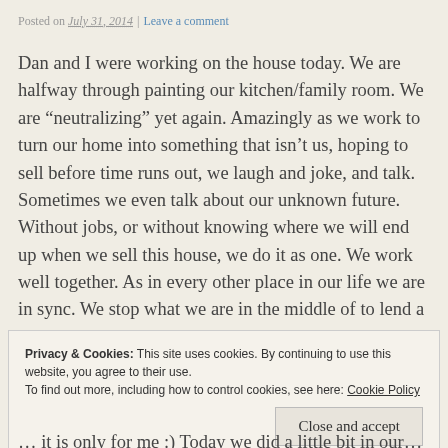Posted on July 31, 2014 | Leave a comment
Dan and I were working on the house today. We are halfway through painting our kitchen/family room. We are “neutralizing” yet again. Amazingly as we work to turn our home into something that isn’t us, hoping to sell before time runs out, we laugh and joke, and talk. Sometimes we even talk about our unknown future. Without jobs, or without knowing where we will end up when we sell this house, we do it as one. We work well together. As in every other place in our life we are in sync. We stop what we are in the middle of to lend a hand to each other, we take turns making meals, we worry over the other working too hard. We also listen to music, his and hers.
Privacy & Cookies: This site uses cookies. By continuing to use this website, you agree to their use.
To find out more, including how to control cookies, see here: Cookie Policy
Close and accept